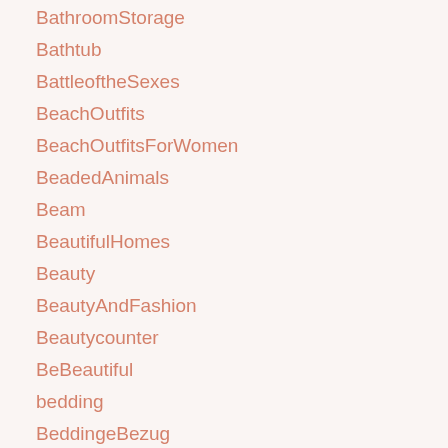BathroomStorage
Bathtub
BattleoftheSexes
BeachOutfits
BeachOutfitsForWomen
BeadedAnimals
Beam
BeautifulHomes
Beauty
BeautyAndFashion
Beautycounter
BeBeautiful
bedding
BeddingeBezug
BeddingIn